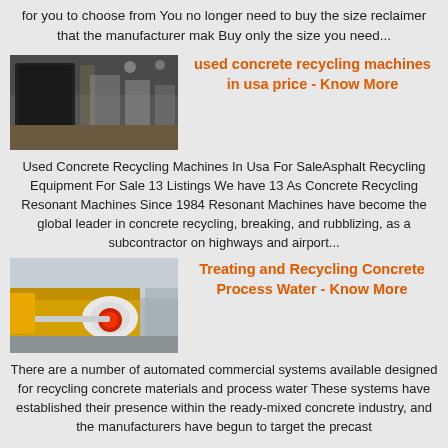for you to choose from You no longer need to buy the size reclaimer that the manufacturer mak Buy only the size you need...
[Figure (photo): Industrial machinery inside a factory, showing large metal equipment and a warehouse interior.]
used concrete recycling machines in usa price - Know More
Used Concrete Recycling Machines In Usa For SaleAsphalt Recycling Equipment For Sale 13 Listings We have 13 As Concrete Recycling Resonant Machines Since 1984 Resonant Machines have become the global leader in concrete recycling, breaking, and rubblizing, as a subcontractor on highways and airport...
[Figure (photo): Yellow and white industrial machinery with a red circular component, photographed outdoors.]
Treating and Recycling Concrete Process Water - Know More
There are a number of automated commercial systems available designed for recycling concrete materials and process water These systems have established their presence within the ready-mixed concrete industry, and the manufacturers have begun to target the precast